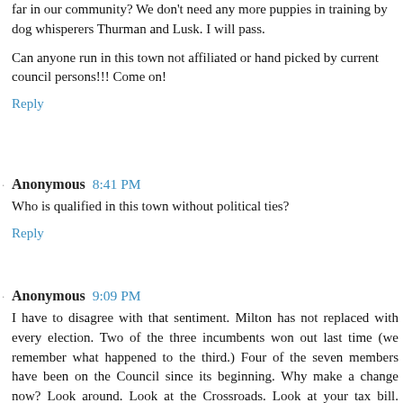far in our community? We don't need any more puppies in training by dog whisperers Thurman and Lusk. I will pass.
Can anyone run in this town not affiliated or hand picked by current council persons!!! Come on!
Reply
Anonymous 8:41 PM
Who is qualified in this town without political ties?
Reply
Anonymous 9:09 PM
I have to disagree with that sentiment. Milton has not replaced with every election. Two of the three incumbents won out last time (we remember what happened to the third.) Four of the seven members have been on the Council since its beginning. Why make a change now? Look around. Look at the Crossroads. Look at your tax bill. There's plenty of reason to give someone with practical